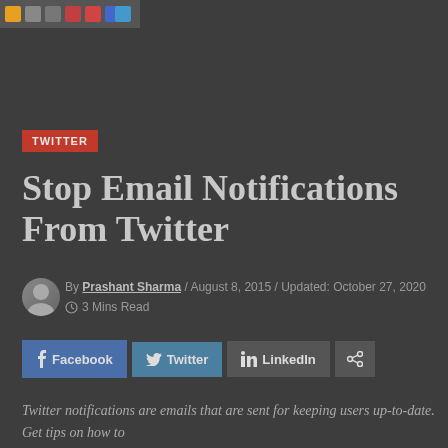[Figure (other): Top navigation bar with icons/logos for various browser extensions or sharing tools]
TWITTER
Stop Email Notifications From Twitter
By Prashant Sharma / August 8, 2015 / Updated: October 27, 2020 / 3 Mins Read
[Figure (other): Social share buttons: Facebook, Twitter, LinkedIn, and a general share icon]
Twitter notifications are emails that are sent for keeping users up-to-date. Get tips on how to